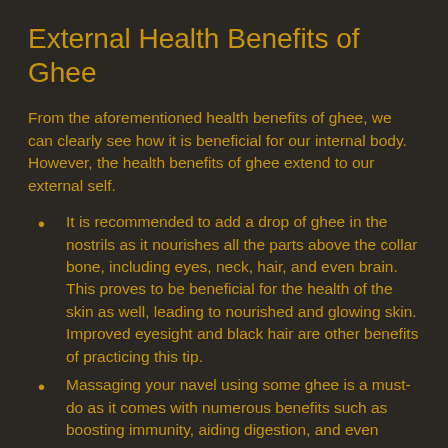External Health Benefits of Ghee
From the aforementioned health benefits of ghee, we can clearly see how it is beneficial for our internal body. However, the health benefits of ghee extend to our external self.
It is recommended to add a drop of ghee in the nostrils as it nourishes all the parts above the collar bone, including eyes, neck, hair, and even brain. This proves to be beneficial for the health of the skin as well, leading to nourished and glowing skin. Improved eyesight and black hair are other benefits of practicing this tip.
Massaging your navel using some ghee is a must-do as it comes with numerous benefits such as boosting immunity, aiding digestion, and even